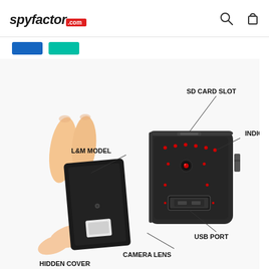spyfactor.com
[Figure (screenshot): Product diagram of a spy camera hidden inside a USB wall charger. Labels point to: SD CARD SLOT (top), INDICATOR LIGHT (right side), L&M MODEL (left, pointing to removable cover), USB PORT (bottom right), CAMERA LENS (bottom center), HIDDEN COVER (bottom left). A hand holds the removable front panel next to the main charger body.]